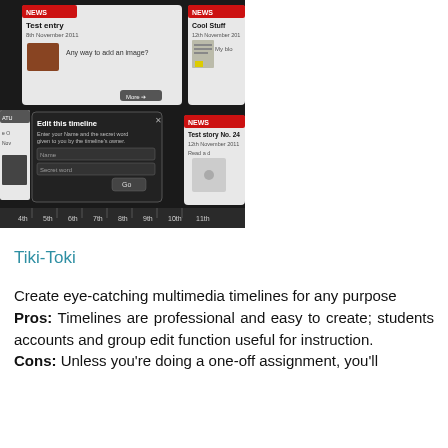[Figure (screenshot): Screenshot of Tiki-Toki timeline application showing a dark-themed interface with news/blog entries, an 'Edit this timeline' modal dialog with Name and Secret word fields and a Go button, and a timeline bar at the bottom with date markers (4th through 11th).]
Tiki-Toki
Create eye-catching multimedia timelines for any purpose
Pros: Timelines are professional and easy to create; students accounts and group edit function useful for instruction.
Cons: Unless you're doing a one-off assignment, you'll